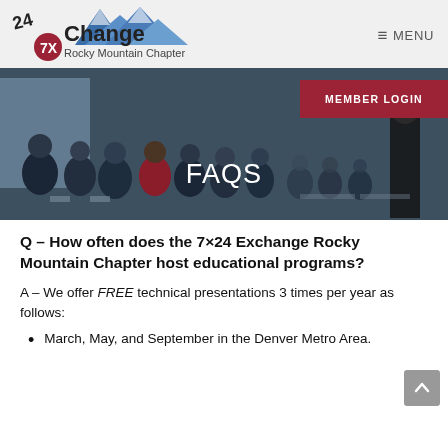[Figure (logo): 7x24 Exchange Rocky Mountain Chapter logo with mountain graphic]
≡ MENU
[Figure (photo): Conference room with audience seated, people attending a presentation]
FAQS
MEMBER LOGIN
Q – How often does the 7×24 Exchange Rocky Mountain Chapter host educational programs?
A – We offer FREE technical presentations 3 times per year as follows:
March, May, and September in the Denver Metro Area.